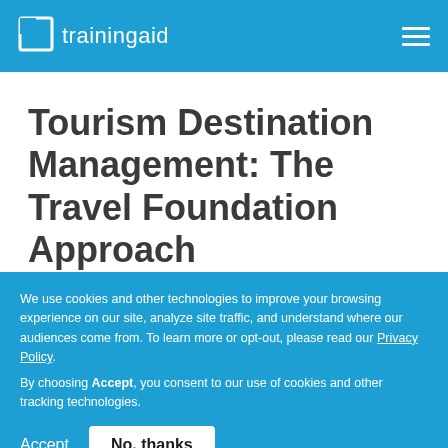trainingaid
Tourism Destination Management: The Travel Foundation Approach
We use cookies and other technologies to improve your browsing experience on our site, analyze site traffic, and understand where our audiences come from. To learn more or opt-out, please read our Privacy Policy. By choosing Accept, you consent to our use of cookies and other tracking technologies.
Accept   No, thanks